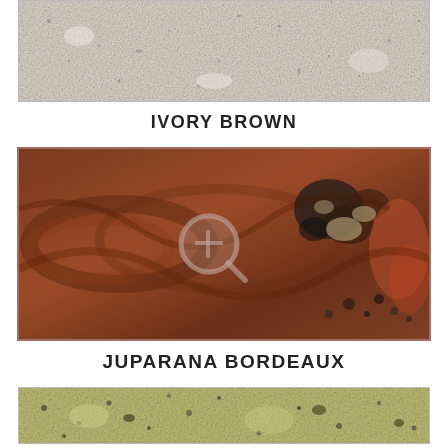[Figure (photo): Ivory Brown granite stone slab texture - light beige/white with dark speckles, cropped at top]
IVORY BROWN
[Figure (photo): Juparana Bordeaux granite stone slab - deep reddish-brown with swirling patterns and dark mineral clusters, with a magnifying glass overlay icon]
JUPARANA BORDEAUX
[Figure (photo): Bottom granite stone slab texture - partial view, yellowish-green with dark speckles]